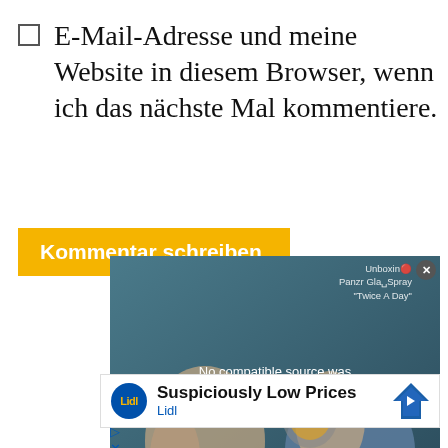E-Mail-Adresse und meine Website in diesem Browser, wenn ich das nächste Mal kommentiere.
Kommentar schreiben
[Figure (screenshot): Video player overlay showing 'No compatible source was found for this media.' with an X button and corner text 'Unboxing Panzerglas Spray Twice A Day' over a background showing hands holding objects on a blue surface.]
[Figure (screenshot): Advertisement for Lidl with text 'Suspiciously Low Prices' and Lidl logo, with a navigation arrow icon.]